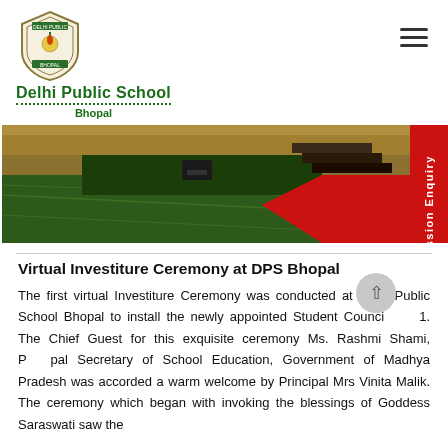Delhi Public School Bhopal
[Figure (photo): Photo of an event stage area with green carpet, red carpet strip, and stairs with decorative golden backdrop]
Virtual Investiture Ceremony at DPS Bhopal
The first virtual Investiture Ceremony was conducted at Delhi Public School Bhopal to install the newly appointed Student Council 21. The Chief Guest for this exquisite ceremony Ms. Rashmi Shami, Principal Secretary of School Education, Government of Madhya Pradesh was accorded a warm welcome by Principal Mrs Vinita Malik. The ceremony which began with invoking the blessings of Goddess Saraswati saw the